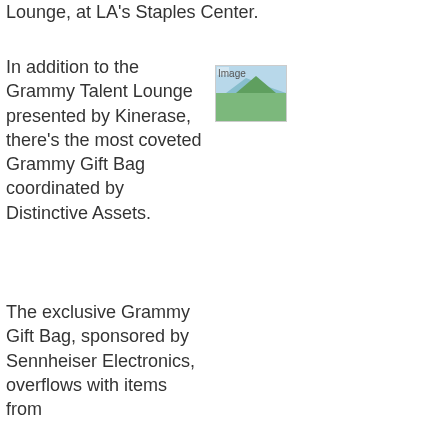Lounge, at LA's Staples Center.
In addition to the Grammy Talent Lounge presented by Kinerase, there's the most coveted Grammy Gift Bag coordinated by Distinctive Assets.
[Figure (photo): Small image thumbnail placeholder]
The exclusive Grammy Gift Bag, sponsored by Sennheiser Electronics, overflows with items from